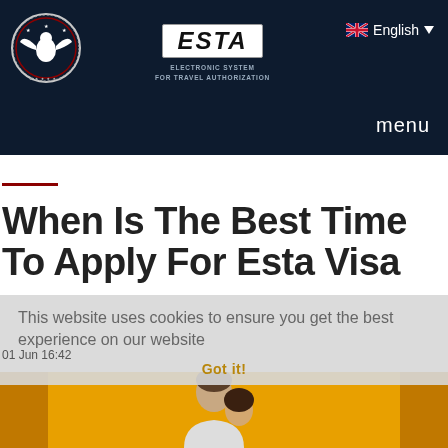[Figure (logo): ESTA circular seal/badge logo with eagle on dark navy background]
[Figure (logo): ESTA Electronic System For Travel Authorization center logo in white box]
English
menu
When Is The Best Time To Apply For Esta Visa
This website uses cookies to ensure you get the best experience on our website
Got it!
01 Jun 16:42
[Figure (photo): Two people (man and woman) visible at bottom of page on amber/yellow background]